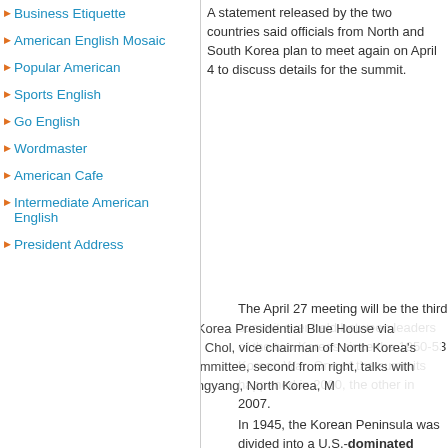Business Etiquette
American English Mosaic
Popular American
Sports English
Go English
Wordmaster
American Cafe
Intermediate American English
President Address
A statement released by the two countries said officials from North and South Korea plan to meet again on April 4 to discuss details for the summit.
In this photo provided by South Korea Presidential Blue House via Yonhap News Agency, Kim Yong Chol, vice chairman of North Korea's ruling Workers' Party Central Committee, second from right, talks with South Korean delegation in Pyongyang, North Korea, M
The April 27 meeting will be the third summit ever held between leaders of the two Koreas since the 1950-53 Korean War. One of the summits happened in 2000, the other in 2007.
In 1945, the Korean Peninsula was divided into a U.S.-dominated south and